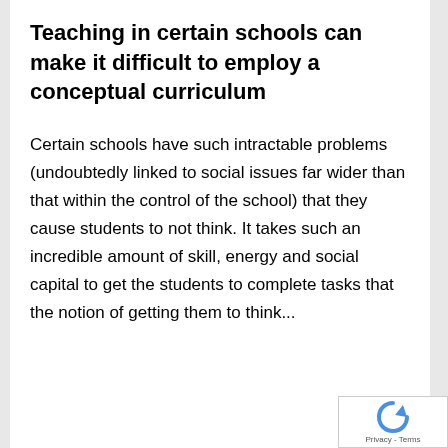Teaching in certain schools can make it difficult to employ a conceptual curriculum
Certain schools have such intractable problems (undoubtedly linked to social issues far wider than that within the control of the school) that they cause students to not think. It takes such an incredible amount of skill, energy and social capital to get the students to complete tasks that the notion of getting them to think...